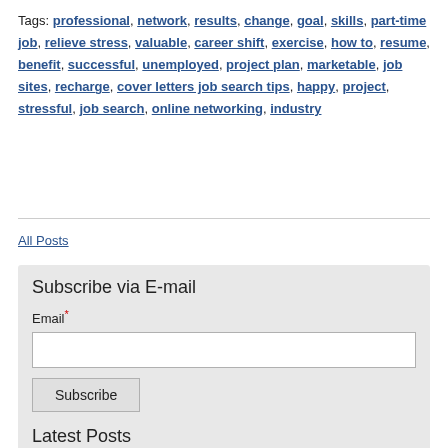Tags: professional, network, results, change, goal, skills, part-time job, relieve stress, valuable, career shift, exercise, how to, resume, benefit, successful, unemployed, project plan, marketable, job sites, recharge, cover letters job search tips, happy, project, stressful, job search, online networking, industry
All Posts
Subscribe via E-mail
Email*
Latest Posts
Listen to the Whisper of Your Soul
A Lesson in Conflict: To Wall or Not to Wall: Is Not the Question!